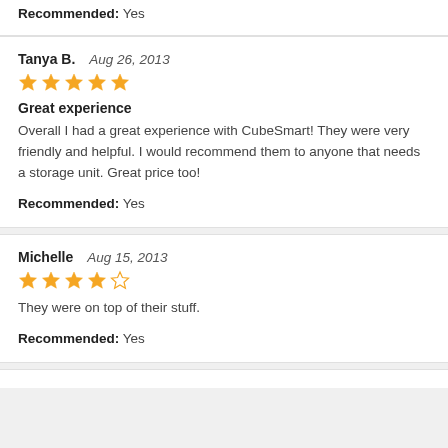Recommended: Yes
Tanya B.   Aug 26, 2013
[Figure (other): 5 filled orange stars rating]
Great experience
Overall I had a great experience with CubeSmart! They were very friendly and helpful. I would recommend them to anyone that needs a storage unit. Great price too!
Recommended: Yes
Michelle   Aug 15, 2013
[Figure (other): 4 filled orange stars and 1 empty star rating]
They were on top of their stuff.
Recommended: Yes